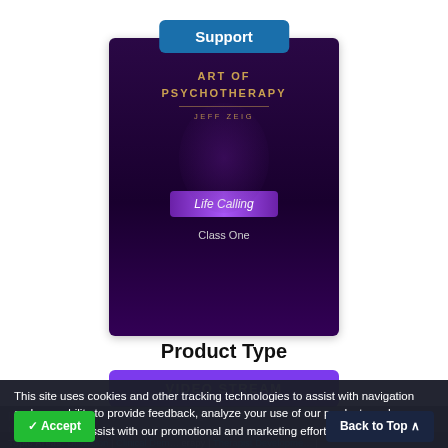[Figure (illustration): Book/DVD product cover for 'Art of Psychotherapy' by Jeff Zeig, showing 'Life Calling Class One' on a dark purple background, with a blue 'Support' button overlaid at the top center]
Product Type
VIDEO STREAM
[CC] Art of Psychotherapy with Dr. Jeffrey Zeig, Utilization Series Class 1 - Life Calling
This site uses cookies and other tracking technologies to assist with navigation and your ability to provide feedback, analyze your use of our products and services, and assist with our promotional and marketing efforts.  More Information
Topic Areas: Utilization | Clinical Dem... erapy | Therapist Developme... Ericksonian Hypnosis and Therapy Techniques |